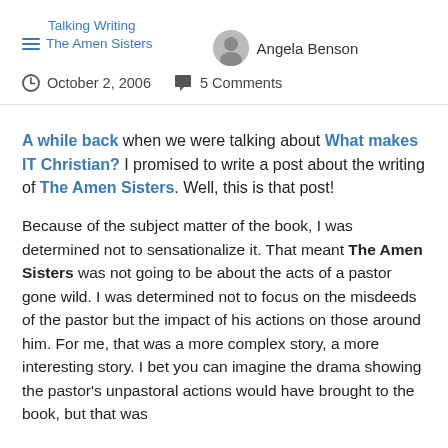Talking Writing
The Amen Sisters
Angela Benson
October 2, 2006   5 Comments
A while back when we were talking about What makes IT Christian? I promised to write a post about the writing of The Amen Sisters. Well, this is that post!
Because of the subject matter of the book, I was determined not to sensationalize it. That meant The Amen Sisters was not going to be about the acts of a pastor gone wild. I was determined not to focus on the misdeeds of the pastor but the impact of his actions on those around him. For me, that was a more complex story, a more interesting story. I bet you can imagine the drama showing the pastor’s unpastoral actions would have brought to the book, but that was